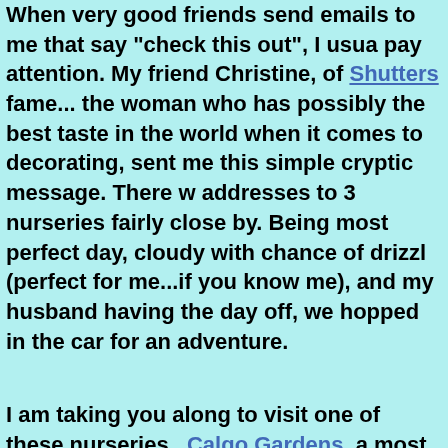When very good friends send emails to me that say "check this out", I usually pay attention. My friend Christine, of Shutters fame... the woman who has possibly the best taste in the world when it comes to decorating, sent me this simple cryptic message. There were addresses to 3 nurseries fairly close by. Being a most perfect day, cloudy with chance of drizzle (perfect for me...if you know me), and my husband having the day off, we hopped in the car for an adventure.
I am taking you along to visit one of these nurseries...Calgo Gardens, a most amazing place. If possible, it is both incredibly whimsical and extremely tranquil.
Because the owners, Penny and Mark Estomini, were so gracious as to allow me to take pictures, I have this great opportunity to share some of their ideas with you.